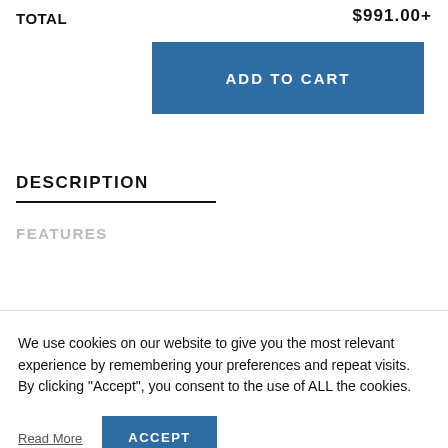TOTAL
ADD TO CART
DESCRIPTION
FEATURES
We use cookies on our website to give you the most relevant experience by remembering your preferences and repeat visits. By clicking “Accept”, you consent to the use of ALL the cookies.
Read More
ACCEPT